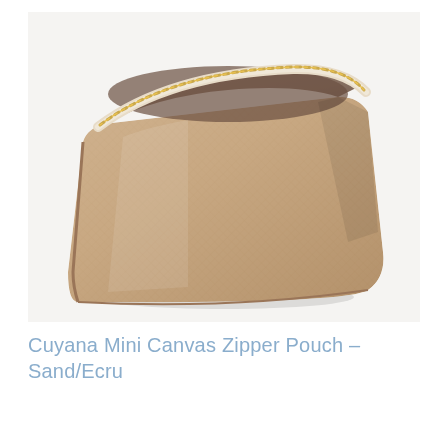[Figure (photo): A sand/ecru colored Cuyana Mini Canvas Zipper Pouch photographed from above at an angle, showing the open zipper and the interior of the pouch. The pouch has a textured saffiano-style exterior in a warm beige/sand color, a gold zipper, and a lighter ecru trim around the zipper. The interior is a taupe/brown fabric. The background is white.]
Cuyana Mini Canvas Zipper Pouch – Sand/Ecru